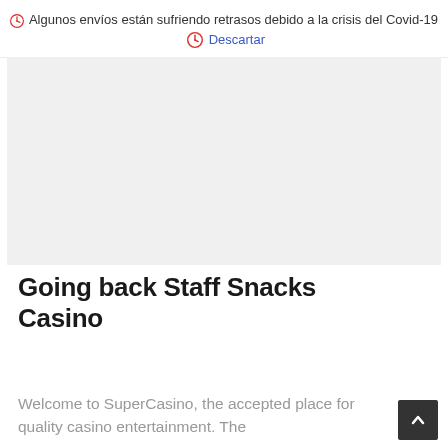🕐 Algunos envíos están sufriendo retrasos debido a la crisis del Covid-19 🕐 Descartar
[Figure (other): Advertisement or image placeholder area (blank gray rectangle)]
Going back Staff Snacks Casino
Welcome to SuperCasino, the accepted place for quality casino entertainment. The